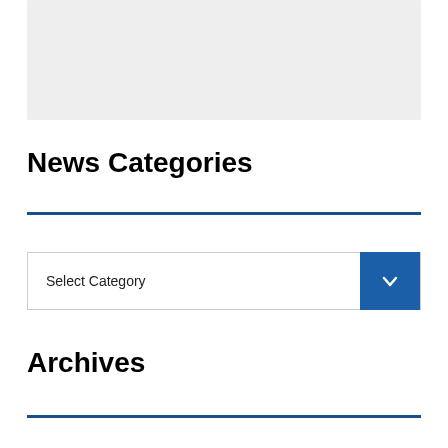[Figure (other): Gray placeholder box at top of page]
News Categories
[Figure (other): Blue horizontal rule divider]
[Figure (other): Dropdown selector widget with label 'Select Category' and blue chevron button on right]
Archives
[Figure (other): Blue horizontal rule divider]